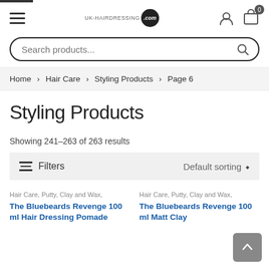uk-hairdressing.com header with hamburger menu, logo, user icon, cart icon
Search products...
Home > Hair Care > Styling Products > Page 6
Styling Products
Showing 241–263 of 263 results
Filters  Default sorting
Hair Care, Putty, Clay and Wax,
The Bluebeards Revenge 100 ml Hair Dressing Pomade
Hair Care, Putty, Clay and Wax,
The Bluebeards Revenge 100 ml Matt Clay